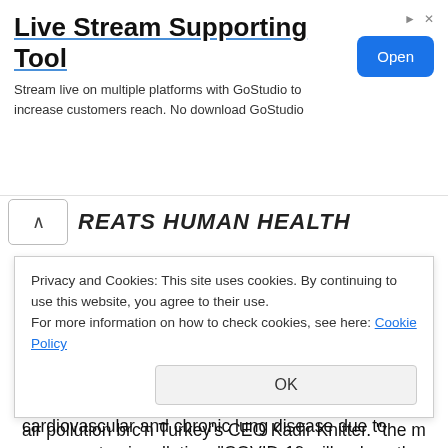[Figure (screenshot): Advertisement banner for 'Live Stream Supporting Tool' by GoStudio with an 'Open' button]
REATS HUMAN HEALTH
Touching on the discomfort experienced by people exposed to solid particles, Dr. Öztutgan said, "As a precaution, reducing the consumption of wood fossil fuels (especially coal, diesel), which causes the formation of PM 2,5 (fine particles) and PM 10 (solid particles), may prevent the development of cardiovascular and chronic lung disease due to exposure to air pollution. "COVID-19 will reduce the risk of getting COVID-19 and severe disease in the pandemic process."
Privacy and Cookies: This site uses cookies. By continuing to use this website, you agree to their use.
For more information on how to check cookies, see here: Cookie Policy
air pollution brc'n Turkey's CEO Kadir Knitter. "the main source